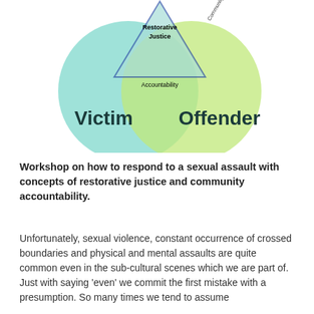[Figure (infographic): Venn diagram showing two overlapping circles labeled 'Victim' (left, teal/cyan) and 'Offender' (right, light green), with a triangle in the center overlap area labeled 'Restorative Justice' at the top. The overlapping region is labeled 'Accountability'. A partially visible label 'Community' appears at the top right of the triangle.]
Workshop on how to respond to a sexual assault with concepts of restorative justice and community accountability.
Unfortunately, sexual violence, constant occurrence of crossed boundaries and physical and mental assaults are quite common even in the sub-cultural scenes which we are part of. Just with saying 'even' we commit the first mistake with a presumption. So many times we tend to assume